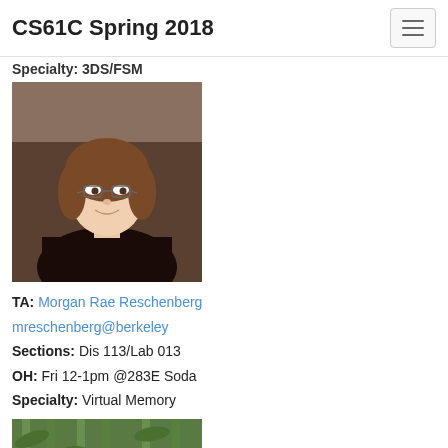CS61C Spring 2018
Specialty: 3DS/FSM
[Figure (photo): Photo of Morgan Rae Reschenberg, a young woman with shoulder-length brown hair wearing glasses and a dark top with a necklace, standing outdoors.]
TA: Morgan Rae Reschenberg
mreschenberg@berkeley
Sections: Dis 113/Lab 013
OH: Fri 12-1pm @283E Soda
Specialty: Virtual Memory
[Figure (photo): Partial photo of a second person with dark hair, outdoors with green bamboo background, only the top portion visible.]